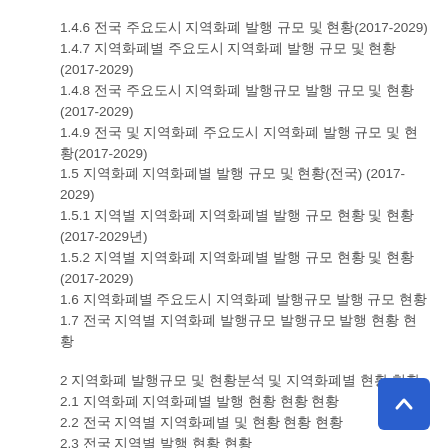1.4.6 전국 주요도시 지역화폐 발행 규모 및 현황(2017-2029)
1.4.7 지역화폐별 주요도시 지역화폐 발행 규모 및 현황(2017-2029)
1.4.8 전국 주요도시 지역화폐 발행규모 발행 규모 및 현황(2017-2029)
1.4.9 전국 및 지역화폐 주요도시 지역화폐 발행 규모 및 현황(2017-2029)
1.5 지역화폐 지역화폐별 발행 규모 및 현황(전국) (2017-2029)
1.5.1 지역별 지역화폐 지역화폐별 발행 규모 현황 및 현황(2017-2029년)
1.5.2 지역별 지역화폐 지역화폐별 발행 규모 현황 및 현황(2017-2029)
1.6 지역화폐별 주요도시 지역화폐 발행규모 발행 규모 현황
1.7 전국 지역별 지역화폐 발행규모 발행규모 발행 현황 현황
2 지역화폐 발행규모 및 현황분석 및 지역화폐별 현황 현황
2.1 지역화폐 지역화폐별 발행 현황 현황 현황
2.2 전국 지역별 지역화폐별 및 현황 현황 현황
2.3 전국 지역별 발행 현황 현황
2.4 지역화폐 발행 규모현황
2.5 전국 지역 현황 현황
2.6 전국 지역 현황 현황